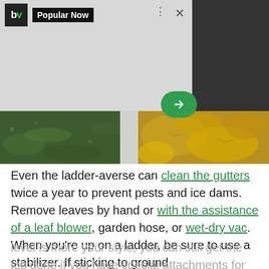[Figure (screenshot): BV 'Popular Now' ad widget with logo, label, control icons (dots and X), green arrow button, on a light grey background with dark right panel]
[Figure (photo): Close-up photo of a house gutter with green grass visible on the left and yellow autumn leaves on the right]
Even the ladder-averse can clean the gutters twice a year to prevent pests and ice dams. Remove leaves by hand or with the assistance of a leaf blower, garden hose, or wet-dry vac. When you're up on a ladder, be sure to use a stabilizer. If sticking to ground level is more your style, you can still get the job done if you have special attachments for your leaf blower